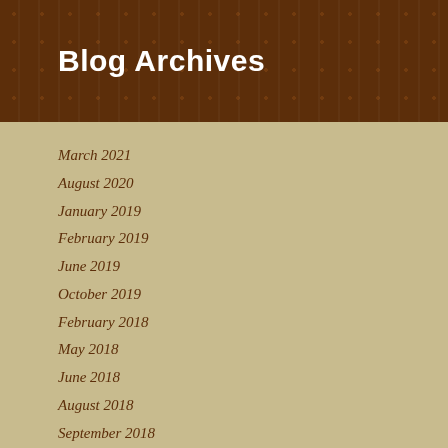Blog Archives
March 2021
August 2020
January 2019
February 2019
June 2019
October 2019
February 2018
May 2018
June 2018
August 2018
September 2018
October 2018
January 2017
July 2017
November 2017
January 2016
May 2016